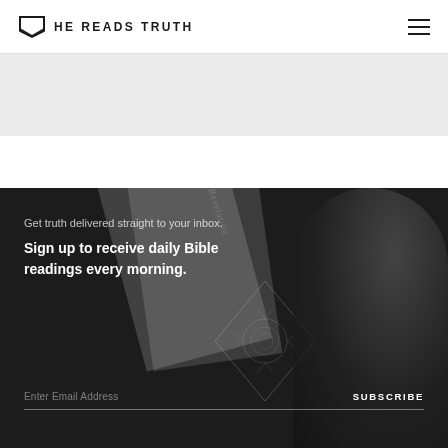HE READS TRUTH
[Figure (photo): Dark background image showing a person reading a Bible/book with decorative ornament overlay, used as background for email signup section]
Get truth delivered straight to your inbox.
Sign up to receive daily Bible readings every morning.
Enter Email Address
SUBSCRIBE